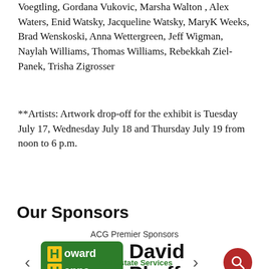Voegtling, Gordana Vukovic, Marsha Walton , Alex Waters, Enid Watsky, Jacqueline Watsky, MaryK Weeks, Brad Wenskoski, Anna Wettergreen, Jeff Wigman, Naylah Williams, Thomas Williams, Rebekkah Ziel-Panek, Trisha Zigrosser
**Artists: Artwork drop-off for the exhibit is Tuesday July 17, Wednesday July 18 and Thursday July 19 from noon to 6 p.m.
Our Sponsors
ACG Premier Sponsors
[Figure (logo): Howard Hanna Real Estate Services logo — green rounded rectangle with yellow H boxes and white text, accompanied by 'David Phaff' text in large bold black font]